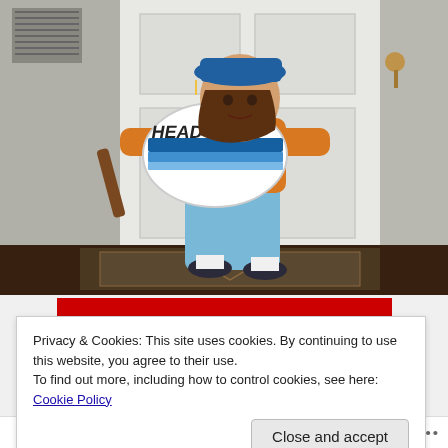[Figure (photo): A young child wearing a blue hat, orange sweater, and light blue pants, standing in a doorway holding a HEAD brand tennis racket. The child is standing on a patterned rug near a white door.]
Privacy & Cookies: This site uses cookies. By continuing to use this website, you agree to their use.
To find out more, including how to control cookies, see here: Cookie Policy